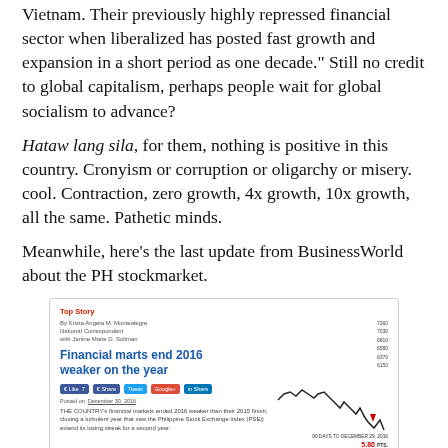Vietnam. Their previously highly repressed financial sector when liberalized has posted fast growth and expansion in a short period as one decade." Still no credit to global capitalism, perhaps people wait for global socialism to advance?
Hataw lang sila, for them, nothing is positive in this country. Cronyism or corruption or oligarchy or misery. cool. Contraction, zero growth, 4x growth, 10x growth, all the same. Pathetic minds.
Meanwhile, here's the last update from BusinessWorld about the PH stockmarket.
[Figure (screenshot): Screenshot of a BusinessWorld news article titled 'Financial marts end 2016 weaker on the year' with a line chart showing 90 days to December 29, 2016 with values around 6100-7260. The chart shows a downward trend with a red arrow indicating -5.80 pts, -0.08%. The article states: THE COUNTRY's financial markets ended 2016 weaker than their 2015 finish, closing a turbulent year that saw the Philippine Stock Exchange index (PSEi) extend its losing streak for a second year.]